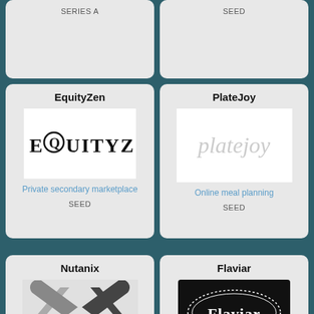SERIES A
SEED
EquityZen
[Figure (logo): EquityZen logo in bold serif font with a circle around the Q]
Private secondary marketplace
SEED
PlateJoy
[Figure (logo): platejoy logo in cursive gray font on white background]
Online meal planning
SEED
Nutanix
[Figure (logo): Nutanix logo with X shape formed by arrows/chevrons and NUTANIX text below]
Virtualized datacenter platform
Flaviar
[Figure (logo): Flaviar logo - white text on dark oval with dotted border on black background]
Spirits tasting club